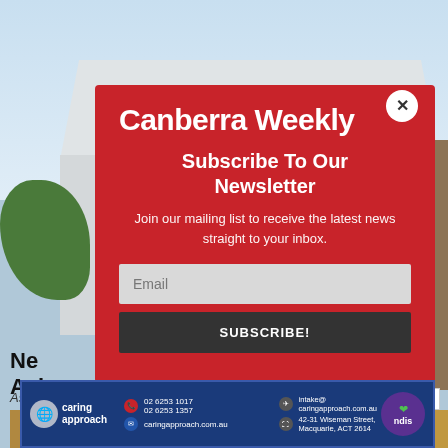[Figure (screenshot): Background photo of a modern house with white roof, grey walls, green trees on left, wooden panel on right, blue sky]
[Figure (screenshot): Newsletter subscription modal popup with red background showing Canberra Weekly branding, Subscribe To Our Newsletter heading, description text, email input field and SUBSCRIBE button]
Canberra Weekly
Subscribe To Our Newsletter
Join our mailing list to receive the latest news straight to your inbox.
Email
SUBSCRIBE!
[Figure (logo): Caring Approach advertisement banner with logo, phone numbers 02 6253 1017 and 02 6253 1357, email intake@caringapproach.com.au and caringapproach.com.au, address 42-31 Wiseman Street, Macquarie ACT 2614, and NDIS badge]